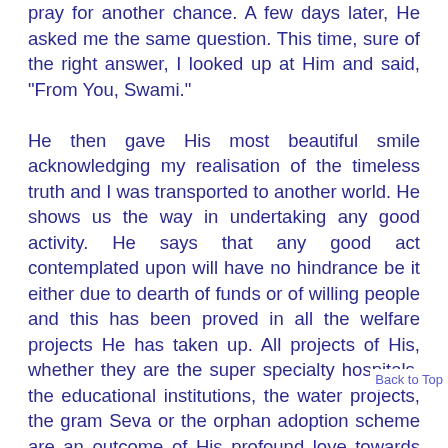pray for another chance. A few days later, He asked me the same question. This time, sure of the right answer, I looked up at Him and said, "From You, Swami."

He then gave His most beautiful smile acknowledging my realisation of the timeless truth and I was transported to another world. He shows us the way in undertaking any good activity. He says that any good act contemplated upon will have no hindrance be it either due to dearth of funds or of willing people and this has been proved in all the welfare projects He has taken up. All projects of His, whether they are the super specialty hospitals, the educational institutions, the water projects, the gram Seva or the orphan adoption scheme are an outcome of His profound love towards humanity and His desire to uplift its suffering section. All His projects are now world famous and are models that ought to be replicated not just because they are offered free of